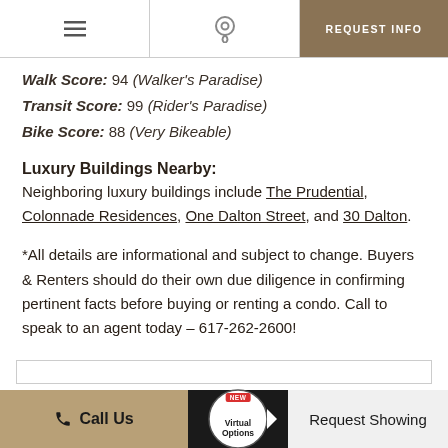Navigation bar with list icon, map pin icon, and REQUEST INFO button
Walk Score: 94 (Walker's Paradise)
Transit Score: 99 (Rider's Paradise)
Bike Score: 88 (Very Bikeable)
Luxury Buildings Nearby:
Neighboring luxury buildings include The Prudential, Colonnade Residences, One Dalton Street, and 30 Dalton.
*All details are informational and subject to change. Buyers & Renters should do their own due diligence in confirming pertinent facts before buying or renting a condo. Call to speak to an agent today – 617-262-2600!
Call Us | Virtual Options | Request Showing